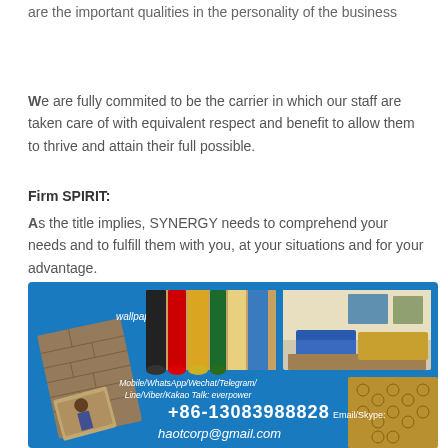are the important qualities in the personality of the business
We are fully commited to be the carrier in which our staff are taken care of with equivalent respect and benefit to allow them to thrive and attain their full possible.
Firm SPIRIT:
As the title implies, SYNERGY needs to comprehend your needs and to fulfill them with you, at your situations and for your advantage.
[Figure (photo): Promotional collage on blue background showing wallpaper products, fabric rolls, interior room, and contact information: Mobile/WhatsApp/Wechat/Telegram/ Line/Viber/Kakao Talk: everpower, +86-13083988828, Email/Skype:, haotcorp@gmail.com]